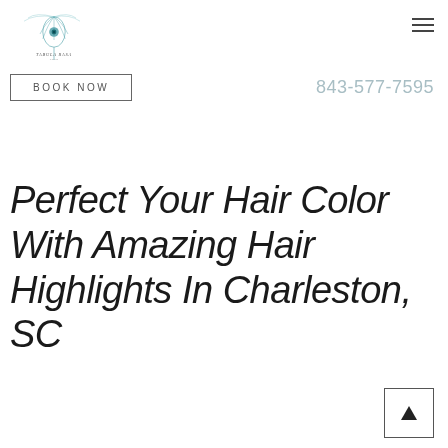[Figure (logo): Tabula Rasa Salon logo with a peacock feather illustration and the text 'Tabula Rasa Salon']
BOOK NOW
843-577-7595
Perfect Your Hair Color With Amazing Hair Highlights In Charleston, SC